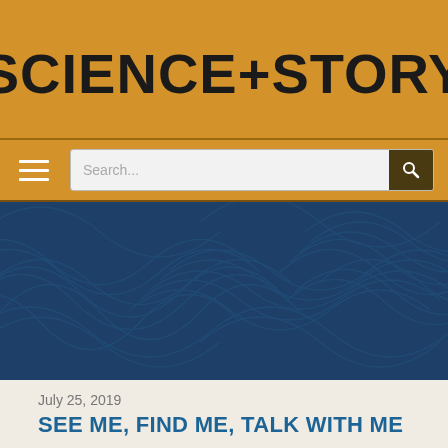SCIENCE+STORY
[Figure (screenshot): Navigation bar with hamburger menu icon and search input field on amber/golden background]
[Figure (illustration): Dark blue hero banner with decorative swirling topographic-style line pattern]
July 25, 2019
SEE ME, FIND ME, TALK WITH ME